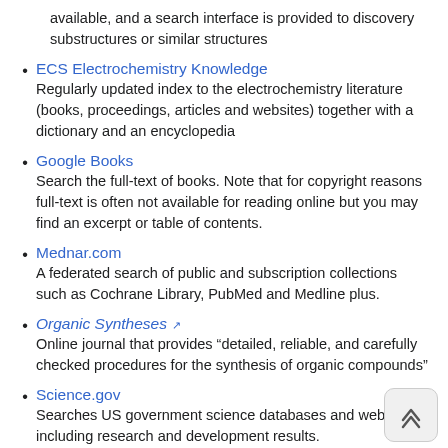available, and a search interface is provided to discovery substructures or similar structures
ECS Electrochemistry Knowledge
Regularly updated index to the electrochemistry literature (books, proceedings, articles and websites) together with a dictionary and an encyclopedia
Google Books
Search the full-text of books. Note that for copyright reasons full-text is often not available for reading online but you may find an excerpt or table of contents.
Mednar.com
A federated search of public and subscription collections such as Cochrane Library, PubMed and Medline plus.
Organic Syntheses
Online journal that provides “detailed, reliable, and carefully checked procedures for the synthesis of organic compounds”
Science.gov
Searches US government science databases and websites, including research and development results.
ScienceResearch